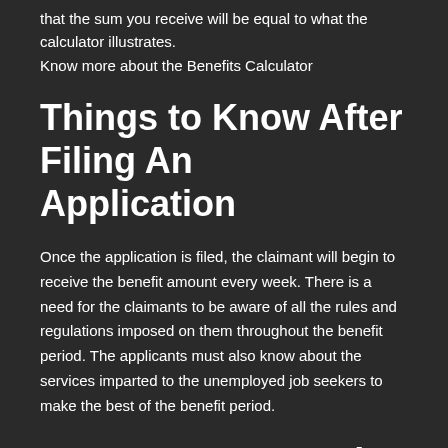that the sum you receive will be equal to what the calculator illustrates.
Know more about the Benefits Calculator
Things to Know After Filing An Application
Once the application is filed, the claimant will begin to receive the benefit amount every week. There is a need for the claimants to be aware of all the rules and regulations imposed on them throughout the benefit period. The applicants must also know about the services imparted to the unemployed job seekers to make the best of the benefit period.
Overpayments and Fraud
Overpayments are the leading cause of loss of...